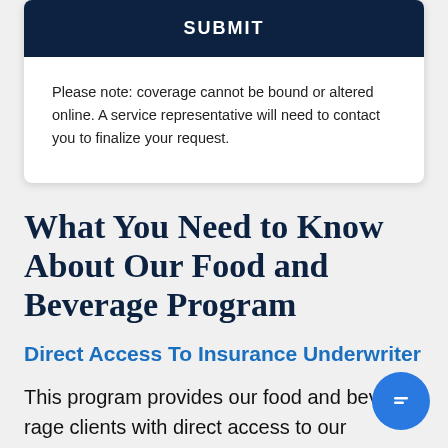SUBMIT
Please note: coverage cannot be bound or altered online. A service representative will need to contact you to finalize your request.
What You Need to Know About Our Food and Beverage Program
Direct Access To Insurance Underwriter
This program provides our food and beve… clients with direct access to our insurance underwriters. Our in-house underwriting team will